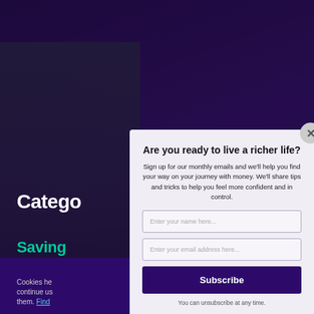[Figure (screenshot): Background webpage with dark purple navigation bar at top, Christmas-themed photo, and categories section visible behind a modal overlay]
Are you ready to live a richer life?
Sign up for our monthly emails and we'll help you find your way on your journey with money. We'll share tips and tricks to help you feel more confident and in control.
Enter your name here...
Enter your email address here...
Subscribe
You can unsubscribe at any time.
Cookies he... continue us... them. Find